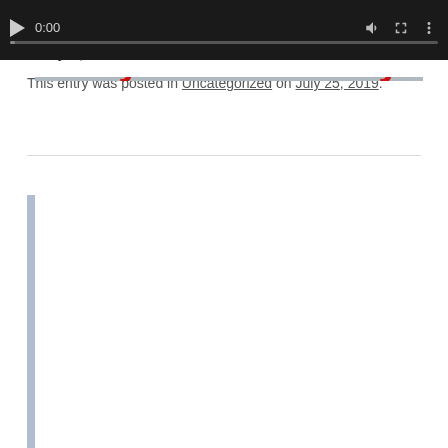[Figure (screenshot): Video player with black background, play button, 0:00 timestamp, volume/fullscreen/more controls, and a grey progress bar]
This entry was posted in Uncategorized on July 25, 2019.
The Jimmy Flynn Comedy Show – Digby Arena – July 6, 2019
[Figure (photo): Photo of a comedy show banner/poster partially visible, showing 'The' in dark text and red stylized letters below it, against a light grey/white banner background with dark ceiling/structure above]